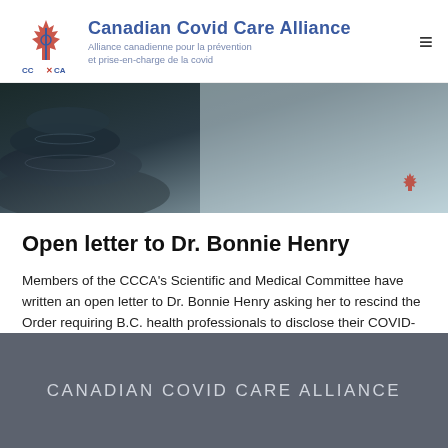Canadian Covid Care Alliance — Alliance canadienne pour la prévention et prise-en-charge de la covid
[Figure (photo): Banner photo showing dark medical/health related stones or pebbles against a light blue-grey background, with a small red CCCA maple leaf logo watermark in the bottom right corner]
Open letter to Dr. Bonnie Henry
Members of the CCCA's Scientific and Medical Committee have written an open letter to Dr. Bonnie Henry asking her to rescind the Order requiring B.C. health professionals to disclose their COVID-19 vaccination status.
CANADIAN COVID CARE ALLIANCE